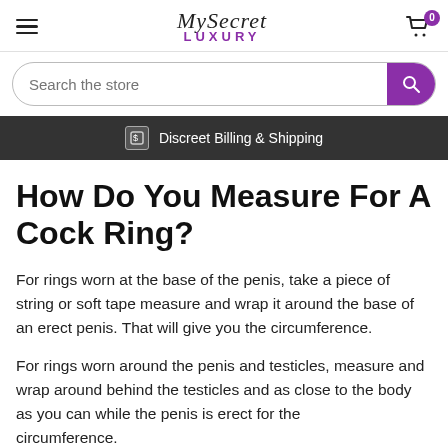MySecret LUXURY — Cart: 0
Search the store
Discreet Billing & Shipping
How Do You Measure For A Cock Ring?
For rings worn at the base of the penis, take a piece of string or soft tape measure and wrap it around the base of an erect penis. That will give you the circumference.
For rings worn around the penis and testicles, measure and wrap around behind the testicles and as close to the body as you can while the penis is erect for the circumference.